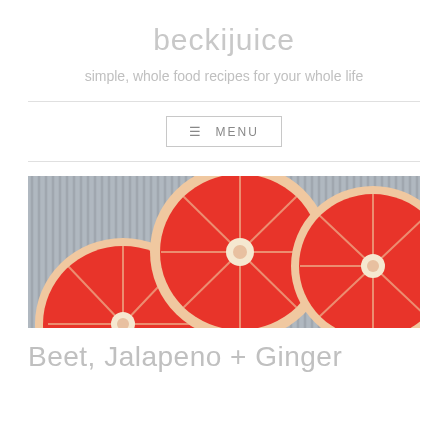beckijuice
simple, whole food recipes for your whole life
≡ MENU
[Figure (photo): Three halved grapefruits showing their red-pink flesh, photographed from above on a striped surface]
Beet, Jalapeno + Ginger